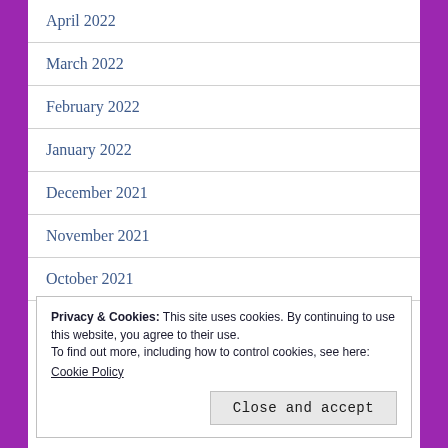April 2022
March 2022
February 2022
January 2022
December 2021
November 2021
October 2021
August 2021
Privacy & Cookies: This site uses cookies. By continuing to use this website, you agree to their use.
To find out more, including how to control cookies, see here:
Cookie Policy
Close and accept